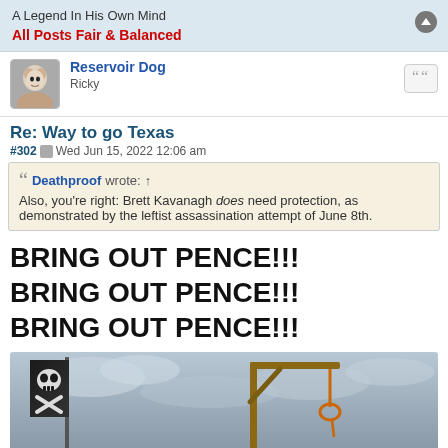A Legend In His Own Mind
All Posts Fair & Balanced
Reservoir Dog
Ricky
Re: Way to go Texas
#302  Wed Jun 15, 2022 12:06 am
Deathproof wrote: ↑
Also, you're right: Brett Kavanagh does need protection, as demonstrated by the leftist assassination attempt of June 8th.
BRING OUT PENCE!!!
BRING OUT PENCE!!!
BRING OUT PENCE!!!
[Figure (photo): Photo of a pirate-style flag with skull and crossbones on the left, and a wooden gallows structure with a noose on the right, against a cloudy grey sky.]